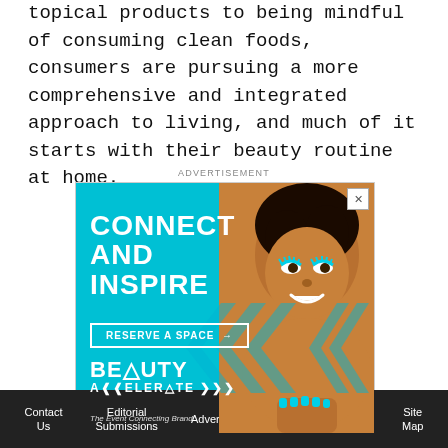topical products to being mindful of consuming clean foods, consumers are pursuing a more comprehensive and integrated approach to living, and much of it starts with their beauty routine at home.
[Figure (illustration): Advertisement banner for Beauty Accelerate event. Cyan/teal background with text 'CONNECT AND INSPIRE', a 'RESERVE A SPACE' button with arrow, chevron graphics, a smiling woman with teal eye makeup and nails, and 'BEAUTY ACCELERATE' branding with tagline 'The Event Connecting Brand'.]
Contact Us   Editorial Submissions   Advertise   Privacy Policy   Legal Terms   Site Map